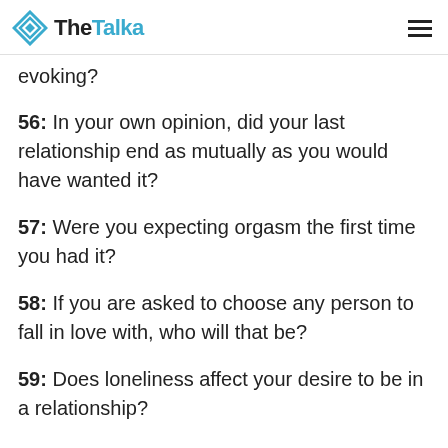TheTalka
evoking?
56: In your own opinion, did your last relationship end as mutually as you would have wanted it?
57: Were you expecting orgasm the first time you had it?
58: If you are asked to choose any person to fall in love with, who will that be?
59: Does loneliness affect your desire to be in a relationship?